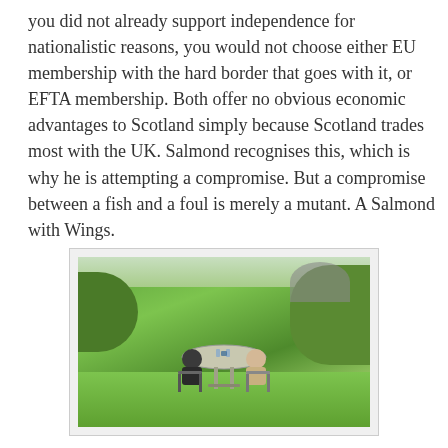you did not already support independence for nationalistic reasons, you would not choose either EU membership with the hard border that goes with it, or EFTA membership. Both offer no obvious economic advantages to Scotland simply because Scotland trades most with the UK. Salmond recognises this, which is why he is attempting a compromise. But a compromise between a fish and a foul is merely a mutant. A Salmond with Wings.
[Figure (photo): Two men sitting across from each other at an outdoor garden table, having a conversation. The setting is a lush green garden with hedges, trees, and a patio umbrella visible in the background.]